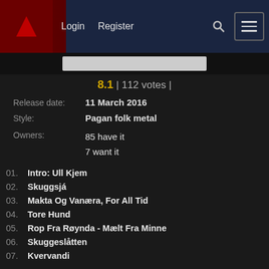Login  Register
8.1 | 112 votes |
Release date: 11 March 2016
Style: Pagan folk metal
Owners: 85 have it
7 want it
01. Intro: Ull Kjem
02. Skuggsjá
03. Makta Og Vanæra, For All Tid
04. Tore Hund
05. Rop Fra Røynda - Mælt Fra Minne
06. Skuggeslåtten
07. Kvervandi
08. Vitkispá
09. Bøn Om Ending, Bøn Om Byrjing
10. Outro: Ull Gjekk
11. Skaldens Song Til Tore Hund [deluxe Digipak bonus]
12. Quantum Pasts [deluxe Digipak bonus]